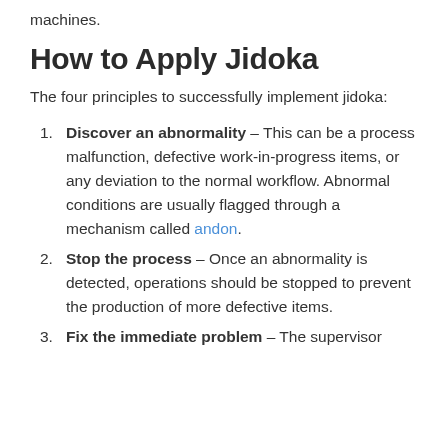machines.
How to Apply Jidoka
The four principles to successfully implement jidoka:
Discover an abnormality – This can be a process malfunction, defective work-in-progress items, or any deviation to the normal workflow. Abnormal conditions are usually flagged through a mechanism called andon.
Stop the process – Once an abnormality is detected, operations should be stopped to prevent the production of more defective items.
Fix the immediate problem – The supervisor